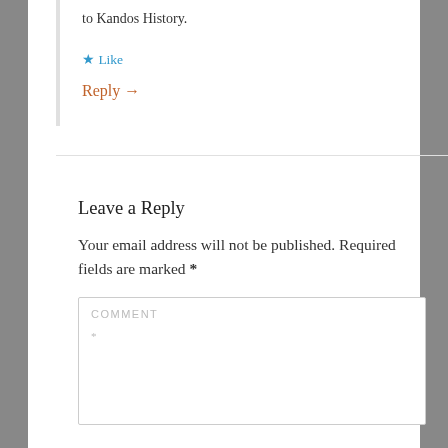to Kandos History.
★ Like
Reply →
Leave a Reply
Your email address will not be published. Required fields are marked *
COMMENT *